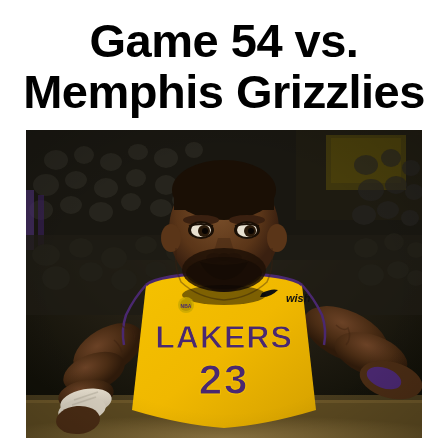Game 54 vs. Memphis Grizzlies
[Figure (photo): Basketball player wearing Los Angeles Lakers gold jersey number 23 with 'wish' sponsor logo, standing on court with crowd in background]